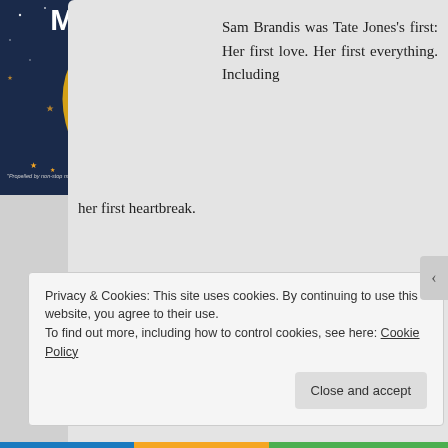[Figure (photo): Book cover showing a golden crescent moon against a dark blue starry night sky. The word 'MOON' appears at the top in white letters. A quote at the bottom reads: 'Propelled by non-stop momentum and charm.' —New York Times Book Review]
Sam Brandis was Tate Jones's first: Her first love. Her first everything. Including her first heartbreak.
During a whirlwind two-week vacation abroad, Sam and Tate fell for each other in only the way that first loves do: sharing all of their hopes, dreams, and deepest secrets along the way. Sam was the first, and only, person that Tate—the long-lost daughter of one of the world's biggest
Privacy & Cookies: This site uses cookies. By continuing to use this website, you agree to their use.
To find out more, including how to control cookies, see here: Cookie Policy
Close and accept